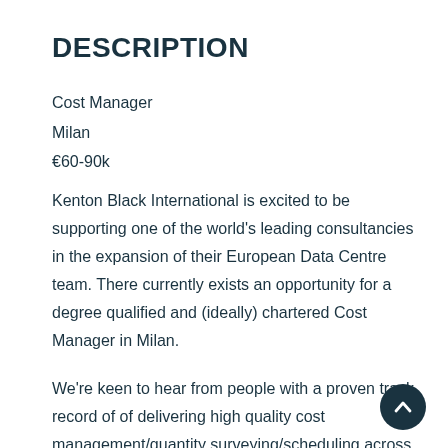DESCRIPTION
Cost Manager
Milan
€60-90k
Kenton Black International is excited to be supporting one of the world's leading consultancies in the expansion of their European Data Centre team. There currently exists an opportunity for a degree qualified and (ideally) chartered Cost Manager in Milan.
We're keen to hear from people with a proven track record of of delivering high quality cost management/quantity surveying/scheduling across